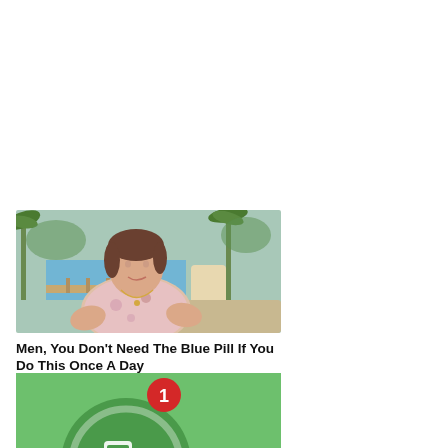[Figure (photo): Photo of a woman sitting outdoors near a pool with palm trees in the background, wearing a floral top]
Men, You Don't Need The Blue Pill If You Do This Once A Day
iamhealth.life
[Figure (screenshot): Green background with a large dark green circle and a red notification badge showing the number 1]